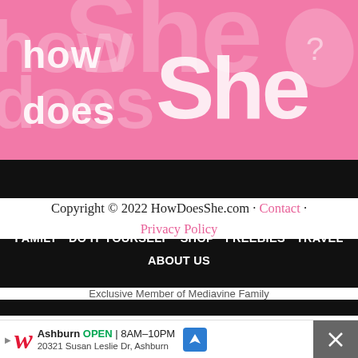[Figure (logo): HowDoesShe.com website logo on pink background with large stylized text 'how does She?' and a pink leaf/question mark icon in top right]
HOLIDAY   RECIPES   BEAUTY   ORGANIZATION   FAMILY   DO IT YOURSELF   SHOP   FREEBIES   TRAVEL   ABOUT US
Copyright © 2022 HowDoesShe.com · Contact · Privacy Policy
Exclusive Member of Mediavine Family
[Figure (screenshot): Walgreens advertisement banner showing: Ashburn OPEN 8AM-10PM, 20321 Susan Leslie Dr, Ashburn, with Walgreens W logo and navigation arrow icon]